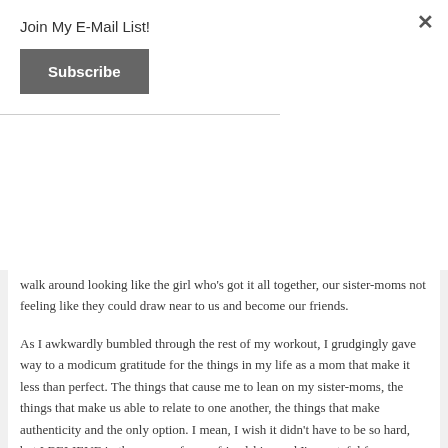Join My E-Mail List!
Subscribe
walk around looking like the girl who’s got it all together, our sister-moms not feeling like they could draw near to us and become our friends.
As I awkwardly bumbled through the rest of my workout, I grudgingly gave way to a modicum gratitude for the things in my life as a mom that make it less than perfect. The things that cause me to lean on my sister-moms, the things that make us able to relate to one another, the things that make authenticity and the only option. I mean, I wish it didn’t have to be so hard, but I BELIEVE in the power of mom friendships and I’m grateful for whatever it